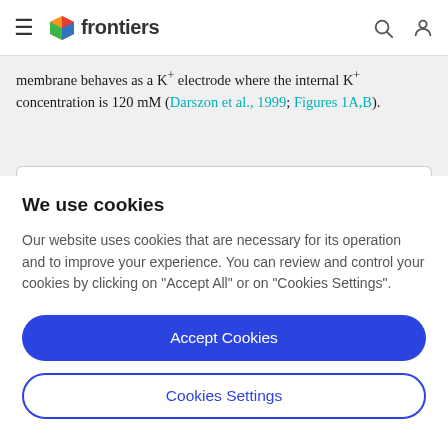frontiers
membrane behaves as a K+ electrode where the internal K+ concentration is 120 mM (Darszon et al., 1999; Figures 1A,B).
We use cookies
Our website uses cookies that are necessary for its operation and to improve your experience. You can review and control your cookies by clicking on "Accept All" or on "Cookies Settings".
Accept Cookies
Cookies Settings